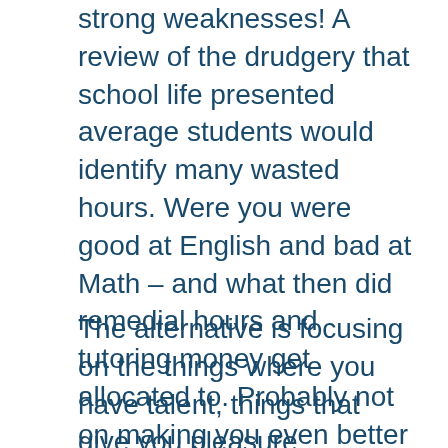strong weaknesses! A review of the drudgery that school life presented average students would identify many wasted hours. Were you were good at English and bad at Math – and what then did remedial hours and tutoring money get allocated to. Probably not on making you even better at English! This is how it works from primary school right up to university and then into corporate life. Most effort is squandered trying to improve a so called weakness.
The alternative is focusing on the things where you have talent, things that give you pleasure, outcomes that you find easier and more interesting and of course more